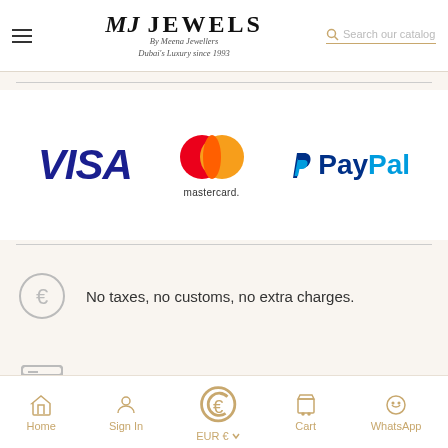MJ JEWELS By Meena Jewellers Dubai's Luxury since 1993
[Figure (logo): Visa payment logo in dark blue italic bold text]
[Figure (logo): Mastercard logo with overlapping red and orange circles and 'mastercard.' text below]
[Figure (logo): PayPal logo with blue P icon and PayPal text in blue]
No taxes, no customs, no extra charges.
Quality certified for your convenience.
Home  Sign In  EUR €  Cart  WhatsApp